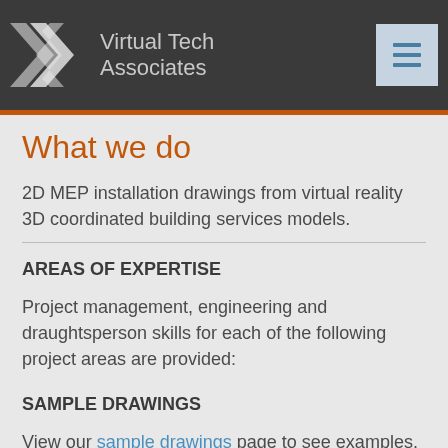Virtual Tech Associates
What we do
2D MEP installation drawings from virtual reality 3D coordinated building services models.
AREAS OF EXPERTISE
Project management, engineering and draughtsperson skills for each of the following project areas are provided:
SAMPLE DRAWINGS
View our sample drawings page to see examples.